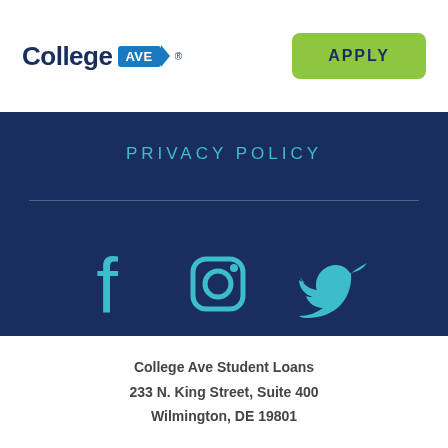College Ave [logo] APPLY
PRIVACY POLICY
[Figure (illustration): Social media icons: Facebook, Instagram, Twitter in teal color on dark blue background]
College Ave Student Loans
233 N. King Street, Suite 400
Wilmington, DE 19801